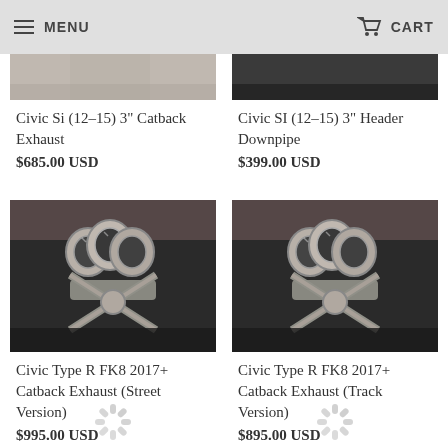MENU  CART
[Figure (photo): Partial top image - left product (Civic Si exhaust/car photo, cropped)]
[Figure (photo): Partial top image - right product (Civic SI header downpipe, dark background, cropped)]
Civic Si (12-15) 3" Catback Exhaust
$685.00 USD
Civic SI (12-15) 3" Header Downpipe
$399.00 USD
[Figure (photo): Civic Type R FK8 catback exhaust - triple tip stainless steel exhaust pipes, underbody view]
[Figure (photo): Civic Type R FK8 catback exhaust track version - triple tip stainless steel exhaust pipes, underbody view]
Civic Type R FK8 2017+ Catback Exhaust (Street Version)
$995.00 USD
Civic Type R FK8 2017+ Catback Exhaust (Track Version)
$895.00 USD
[Figure (other): Loading spinner animation (left)]
[Figure (other): Loading spinner animation (right)]